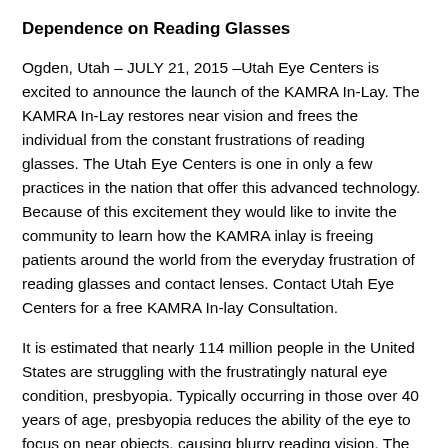Dependence on Reading Glasses
Ogden, Utah – JULY 21, 2015 –Utah Eye Centers is excited to announce the launch of the KAMRA In-Lay. The KAMRA In-Lay restores near vision and frees the individual from the constant frustrations of reading glasses. The Utah Eye Centers is one in only a few practices in the nation that offer this advanced technology. Because of this excitement they would like to invite the community to learn how the KAMRA inlay is freeing patients around the world from the everyday frustration of reading glasses and contact lenses. Contact Utah Eye Centers for a free KAMRA In-lay Consultation.
It is estimated that nearly 114 million people in the United States are struggling with the frustratingly natural eye condition, presbyopia. Typically occurring in those over 40 years of age, presbyopia reduces the ability of the eye to focus on near objects, causing blurry reading vision. The KAMRA procedure is now available to treat this condition.